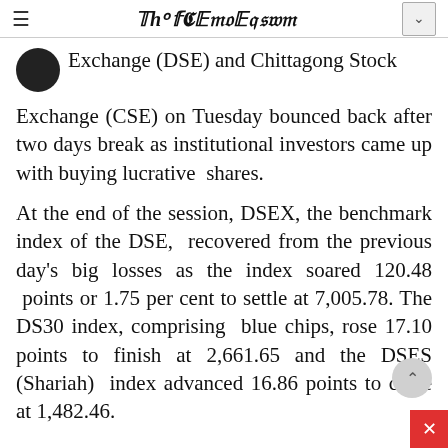The Financial Express
Exchange (DSE) and Chittagong Stock Exchange (CSE) on Tuesday bounced back after two days break as institutional investors came up with buying lucrative shares.
At the end of the session, DSEX, the benchmark index of the DSE, recovered from the previous day's big losses as the index soared 120.48 points or 1.75 per cent to settle at 7,005.78. The DS30 index, comprising blue chips, rose 17.10 points to finish at 2,661.65 and the DSES (Shariah) index advanced 16.86 points to close at 1,482.46.